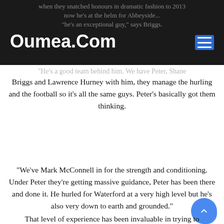when they snatched honours in dramatic fashion to 2013 now he's at the helm for Abbeyside... 'he's an exceptional guy,' says Briggs.
Oumea.Com
"He's a good team behind him. We have Peter, Shane Briggs and Lawrence Hurney with him, they manage the hurling and the football so it's all the same guys. Peter's basically got them thinking.
“We’ve Mark McConnell in for the strength and conditioning. Under Peter they’re getting massive guidance, Peter has been there and done it. He hurled for Waterford at a very high level but he’s also very down to earth and grounded.”
Peter Queally celebrates with supporters after Passage won the 2013 Waterford decider.
Source: Ken Sutton/INPHO
That level of experience has been invaluable in trying to